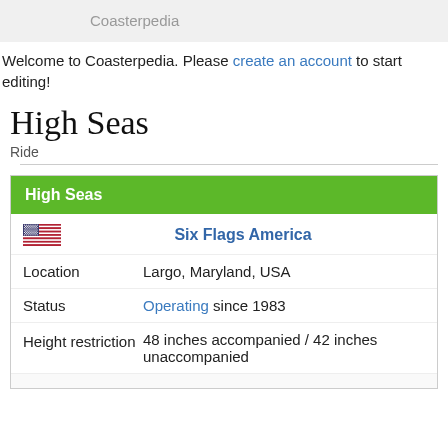Coasterpedia
Welcome to Coasterpedia. Please create an account to start editing!
High Seas
Ride
| High Seas |
| --- |
| [US Flag] | Six Flags America |
| Location | Largo, Maryland, USA |
| Status | Operating since 1983 |
| Height restriction | 48 inches accompanied / 42 inches unaccompanied |